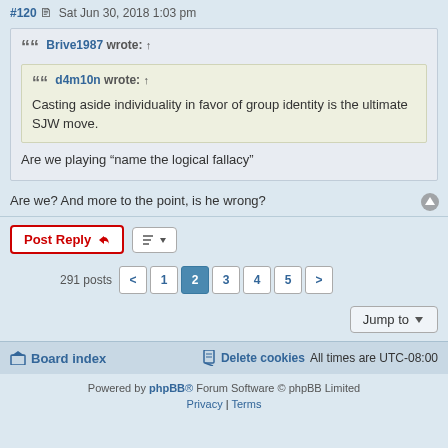#120  Sat Jun 30, 2018 1:03 pm
Brive1987 wrote: ↑
d4m10n wrote: ↑
Casting aside individuality in favor of group identity is the ultimate SJW move.
Are we playing “name the logical fallacy”
Are we? And more to the point, is he wrong?
Post Reply  |  291 posts  1 2 3 4 5  |  Jump to
Board index   Delete cookies   All times are UTC-08:00
Powered by phpBB® Forum Software © phpBB Limited
Privacy | Terms